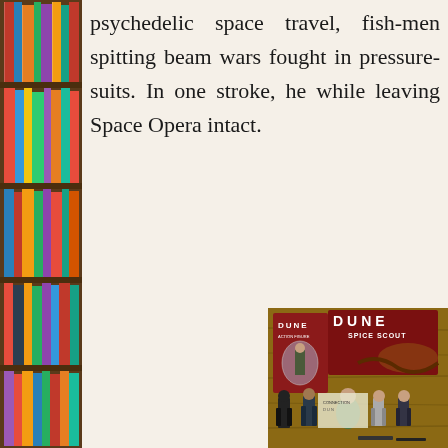[Figure (photo): Bookshelf with colorful book spines on the left margin of the page]
psychedelic space travel, fish-men spitting beam wars fought in pressure-suits. In one stroke, he while leaving Space Opera intact.
[Figure (photo): Dune action figures and merchandise including packaged action figure, Dune Spice Scout board game box, and several action figures arranged on a wooden surface]